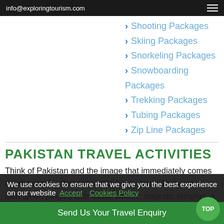info@exploringtourism.com
Shooting Packages
Skiing Packages
Snorkeling Packages
Snowboarding Packages
Trekking Packages
Tubing Packages
Zip Line Packages
PAKISTAN TRAVEL ACTIVITIES
Think of Pakistan and the image that immediately comes to your mind is that of breathtakingly beautiful beaches, lush green jungles with exotic wildlife, majestic temples, a vibrant nightlife, delicious cuisine, pulsating cities and a rich traditions
We use cookies to ensure that we give you the best experience on our website  Accept  Cookies Policy
Send Us Your Travel Enquiry